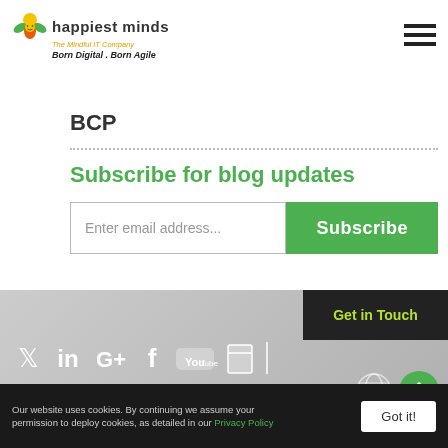[Figure (logo): Happiest Minds logo with tagline 'The Mindful IT Company' and slogan 'Born Digital . Born Agile']
[Figure (other): Hamburger menu icon (three horizontal bars)]
BCP
Subscribe for blog updates
Enter email address...
Subscribe
[Figure (other): Footer gray section with social media icons: Twitter, LinkedIn, Google+, Facebook, YouTube, and another icon. 'Get in Touch' dark box. Globe icon and green up-arrow button.]
Our website uses cookies. By continuing we assume your permission to deploy cookies, as detailed in our Privacy Policy
Got it!